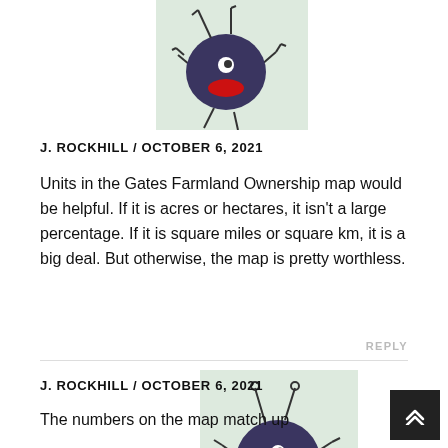[Figure (illustration): Cartoon character illustration – dark blue rounded blob with red lips, arms and legs, wearing antenna-like appendages on top. Light green background.]
J. ROCKHILL / OCTOBER 6, 2021
Units in the Gates Farmland Ownership map would be helpful. If it is acres or hectares, it isn't a large percentage. If it is square miles or square km, it is a big deal. But otherwise, the map is pretty worthless.
REPLY
[Figure (illustration): Cartoon character illustration – dark blue rounded blob with red lips, arms and antenna appendages. Light green background.]
J. ROCKHILL / OCTOBER 6, 2021
The numbers on the map match up